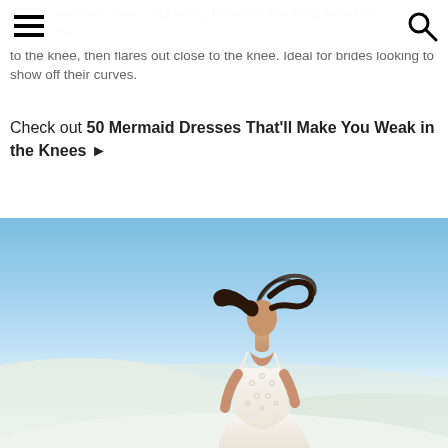[hamburger menu] [search icon]
mermaid: sleek and sultry. Fitted on the body from the chest to the knee, then flares out close to the knee. Ideal for brides looking to show off their curves.
Check out 50 Mermaid Dresses That'll Make You Weak in the Knees ▶
[Figure (photo): Model wearing a white lace mermaid wedding dress standing in white sand dunes under a blue sky, with dark hair blowing in the wind.]